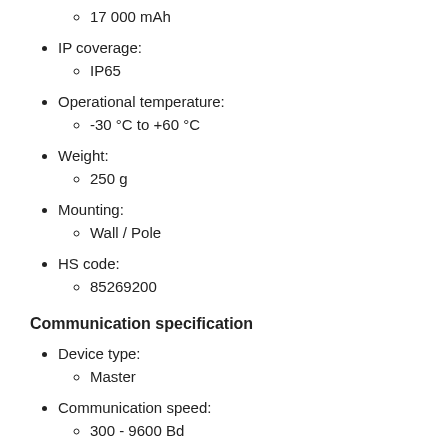17 000 mAh
IP coverage: IP65
Operational temperature: -30 °C to +60 °C
Weight: 250 g
Mounting: Wall / Pole
HS code: 85269200
Communication specification
Device type: Master
Communication speed: 300 - 9600 Bd